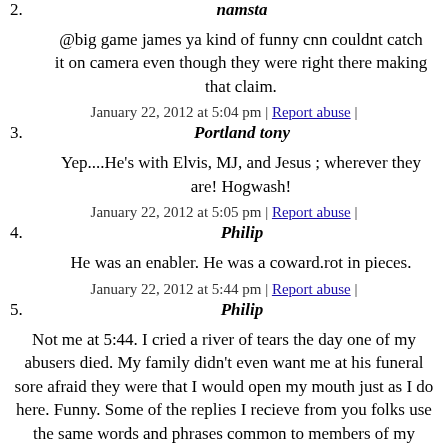2. namsta
@big game james ya kind of funny cnn couldnt catch it on camera even though they were right there making that claim.
January 22, 2012 at 5:04 pm | Report abuse |
3. Portland tony
Yep....He's with Elvis, MJ, and Jesus ; wherever they are! Hogwash!
January 22, 2012 at 5:05 pm | Report abuse |
4. Philip
He was an enabler. He was a coward.rot in pieces.
January 22, 2012 at 5:44 pm | Report abuse |
5. Philip
Not me at 5:44. I cried a river of tears the day one of my abusers died. My family didn't even want me at his funeral sore afraid they were that I would open my mouth just as I do here. Funny. Some of the replies I recieve from you folks use the same words and phrases common to members of my family. And yeah, many were the times that my own family "trolled" me in real life. Trying to shut me up by making